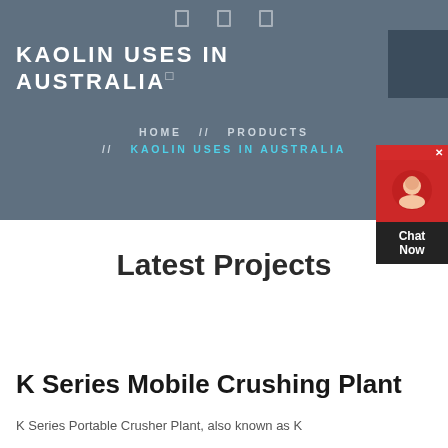KAOLIN USES IN AUSTRALIA
HOME // PRODUCTS // KAOLIN USES IN AUSTRALIA
Latest Projects
K Series Mobile Crushing Plant
K Series Portable Crusher Plant, also known as K